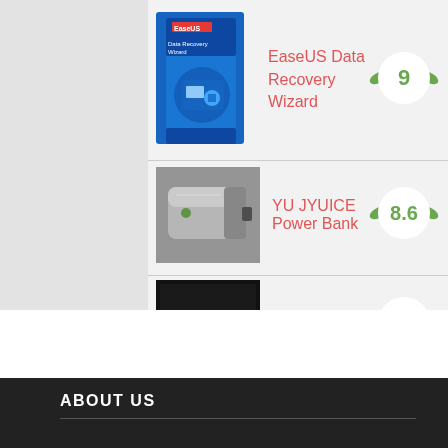[Figure (screenshot): EaseUS Data Recovery Wizard software box product image]
EaseUS Data Recovery Wizard
[Figure (infographic): Score badge showing 9]
[Figure (photo): YU JYUICE Power Bank product photo, silver/grey device]
YU JYUICE Power Bank
[Figure (infographic): Score badge showing 8.6]
[Figure (screenshot): Video to GIF software screenshot, dark interface]
Video to GIF
[Figure (infographic): Score badge showing 8.6]
ABOUT US